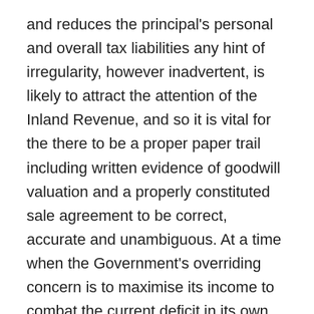and reduces the principal's personal and overall tax liabilities any hint of irregularity, however inadvertent, is likely to attract the attention of the Inland Revenue, and so it is vital for the there to be a proper paper trail including written evidence of goodwill valuation and a properly constituted sale agreement to be correct, accurate and unambiguous. At a time when the Government's overriding concern is to maximise its income to combat the current deficit in its own finances, it's hardly surprising that HMRC is increasingly active in this area. Tax investigations are notoriosly time consuming and expensive even when the outcome is entirely satisfactory for the business concerned, and so documentation regarding the transfer of assets, particularly the goodwill, must be drafted with